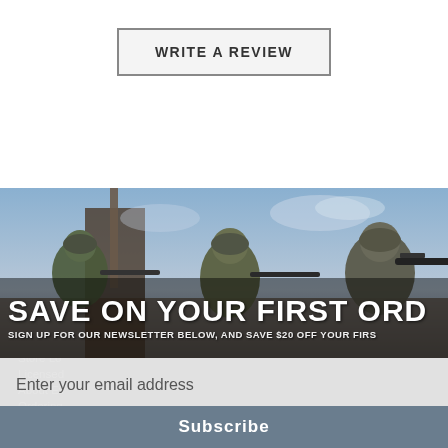WRITE A REVIEW
SHOP EVIKE.COM
CUSTOMER SUPPORT
Airsoft |
Epic Dea...
Shop by...
Store Lo...
Licensed...
About Ev...
Ordering...
Internati...
Coupon I...
RESOUR...
Gaming i...
AirsoftCl...
Airsoft P...
[Figure (photo): Military soldiers in camouflage gear aiming rifles, tactical scene]
SAVE ON YOUR FIRST ORD...
SIGN UP FOR OUR NEWSLETTER BELOW, AND SAVE $20 OFF YOUR FIRS...
Enter your email address
Subscribe